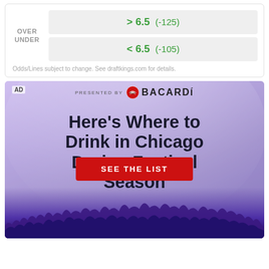OVER
UNDER
> 6.5  (-125)
< 6.5  (-105)
Odds/Lines subject to change. See draftkings.com for details.
[Figure (infographic): Bacardi advertisement: 'Here's Where to Drink in Chicago During Festival Season' with SEE THE LIST button, crowd photo background, presented by Bacardi logo.]